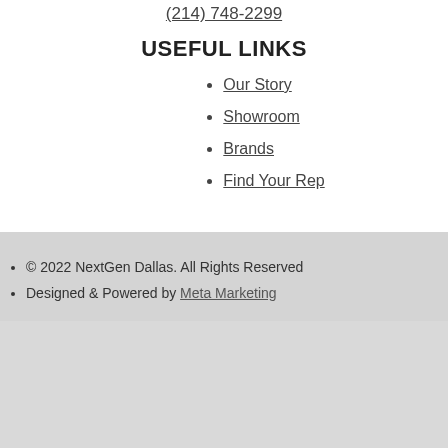(214) 748-2299
USEFUL LINKS
Our Story
Showroom
Brands
Find Your Rep
© 2022 NextGen Dallas. All Rights Reserved
Designed & Powered by Meta Marketing